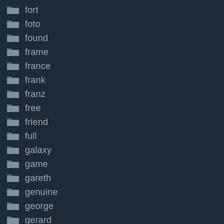fort
foto
found
frame
france
frank
franz
free
friend
full
galaxy
game
gareth
genuine
george
gerard
germany
gets